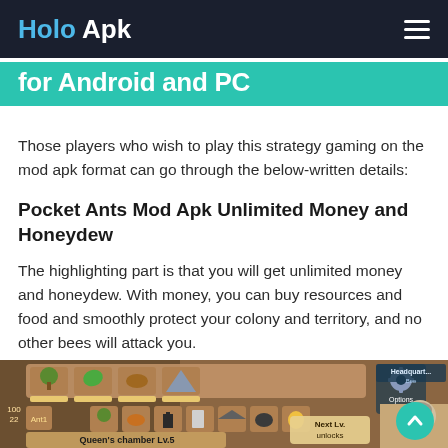Holo Apk
for Android and PC
Those players who wish to play this strategy gaming on the mod apk format can go through the below-written details:
Pocket Ants Mod Apk Unlimited Money and Honeydew
The highlighting part is that you will get unlimited money and honeydew. With money, you can buy resources and food and smoothly protect your colony and territory, and no other bees will attack you.
[Figure (screenshot): Pocket Ants mobile game screenshot showing Queen's chamber Lv.5 interface with inventory icons, ant worker characters, and 'Next Lv. unlocks' button]